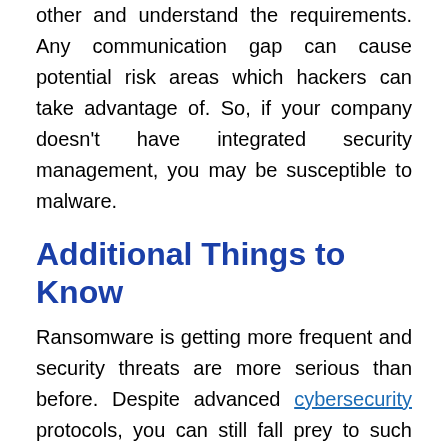other and understand the requirements. Any communication gap can cause potential risk areas which hackers can take advantage of. So, if your company doesn't have integrated security management, you may be susceptible to malware.
Additional Things to Know
Ransomware is getting more frequent and security threats are more serious than before. Despite advanced cybersecurity protocols, you can still fall prey to such attacks. Here are some additional things that you should remember:
The attacks are getting bigger and worse than